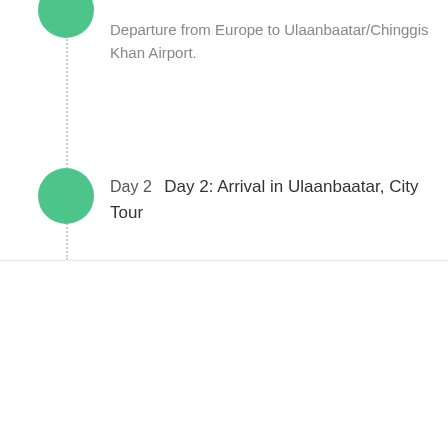Departure from Europe to Ulaanbaatar/Chinggis Khan Airport.
Day 2   Day 2: Arrival in Ulaanbaatar, City Tour
From
€ 2,790 per Adult
Check Availability
Need help with booking? Send Us A Message